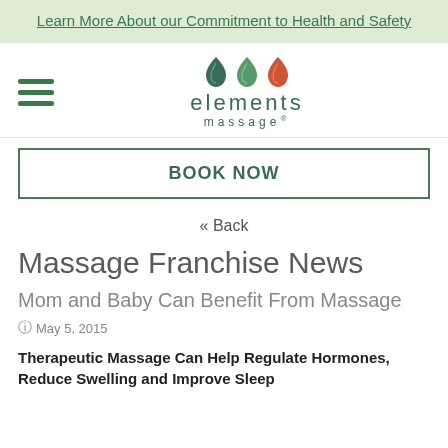Learn More About our Commitment to Health and Safety
[Figure (logo): Elements Massage logo with three teardrop/leaf icons and the text 'elements massage']
BOOK NOW
« Back
Massage Franchise News
Mom and Baby Can Benefit From Massage
May 5, 2015
Therapeutic Massage Can Help Regulate Hormones, Reduce Swelling and Improve Sleep